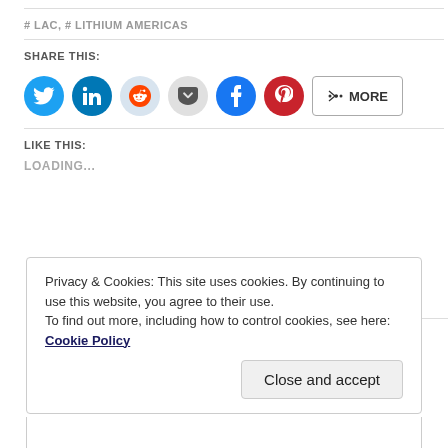# LAC, # LITHIUM AMERICAS
SHARE THIS:
[Figure (infographic): Social sharing buttons: Twitter (blue circle), LinkedIn (dark blue circle), Reddit (light blue circle), Pocket (grey circle), Facebook (blue circle), Pinterest (red circle), and a 'MORE' button with share icon]
LIKE THIS:
LOADING...
Privacy & Cookies: This site uses cookies. By continuing to use this website, you agree to their use. To find out more, including how to control cookies, see here: Cookie Policy
Close and accept